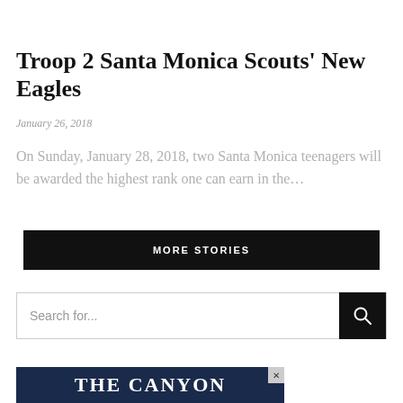Troop 2 Santa Monica Scouts' New Eagles
January 26, 2018
On Sunday, January 28, 2018, two Santa Monica teenagers will be awarded the highest rank one can earn in the…
MORE STORIES
Search for...
[Figure (other): Advertisement banner showing 'THE CANYON' text on dark blue background with close button]